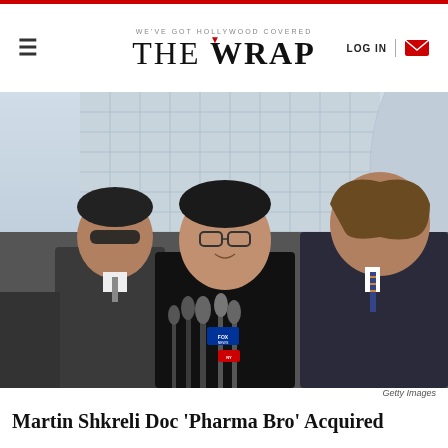WE'VE GOT HOLLYWOOD COVERED — THE WRAP — LOG IN
[Figure (photo): Martin Shkreli standing at a press conference podium with microphones, flanked by two men, in front of a building. Getty Images.]
Getty Images
Martin Shkreli Doc 'Pharma Bro' Acquired